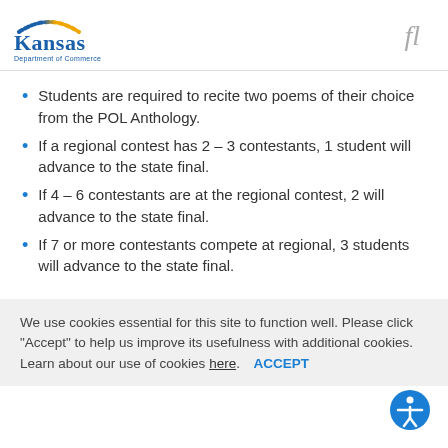Kansas Department of Commerce
Students are required to recite two poems of their choice from the POL Anthology.
If a regional contest has 2 – 3 contestants, 1 student will advance to the state final.
If 4 – 6 contestants are at the regional contest, 2 will advance to the state final.
If 7 or more contestants compete at regional, 3 students will advance to the state final.
We use cookies essential for this site to function well. Please click "Accept" to help us improve its usefulness with additional cookies. Learn about our use of cookies here.  ACCEPT